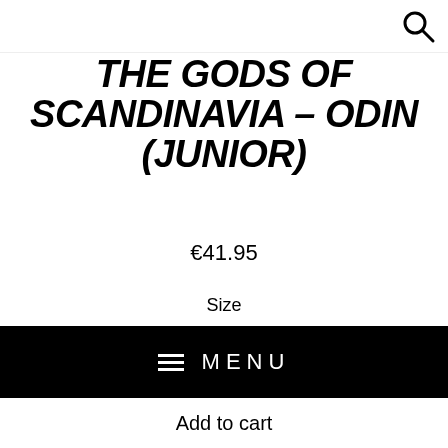THE GODS OF SCANDINAVIA – ODIN (JUNIOR)
€41.95
Size
4 (XS)  6 (S)  8 (M)  10 (L)
MENU
Add to cart